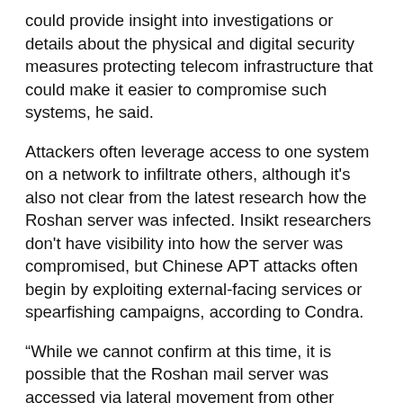could provide insight into investigations or details about the physical and digital security measures protecting telecom infrastructure that could make it easier to compromise such systems, he said.
Attackers often leverage access to one system on a network to infiltrate others, although it's also not clear from the latest research how the Roshan server was infected. Insikt researchers don't have visibility into how the server was compromised, but Chinese APT attacks often begin by exploiting external-facing services or spearfishing campaigns, according to Condra.
“While we cannot confirm at this time, it is possible that the Roshan mail server was accessed via lateral movement from other compromised devices in the Roshan network,” he added.
Access to telecom infrastructure can be a major intelligence source.
“The targeting of telecommunications firms offers a hugely valuable platform for strategic intelligence collection, be it for monitoring of downstream targets, bulk collection of communication data, as well as the ability to track and monitor